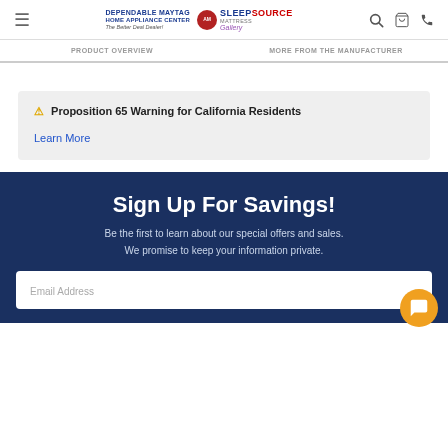Dependable Maytag Home Appliance Center / Sleep Source Gallery - navigation header
PRODUCT OVERVIEW | MORE FROM THE MANUFACTURER
⚠ Proposition 65 Warning for California Residents
Learn More
Sign Up For Savings!
Be the first to learn about our special offers and sales. We promise to keep your information private.
Email Address